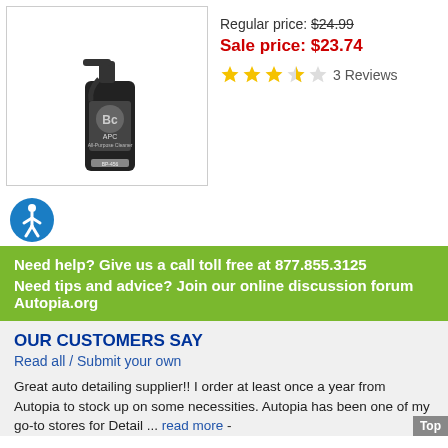[Figure (photo): Black spray bottle product image labeled APC All-Purpose Cleaner]
Regular price: $24.99
Sale price: $23.74
3 Reviews
[Figure (illustration): Blue circle accessibility icon with white figure]
Need help? Give us a call toll free at 877.855.3125
Need tips and advice? Join our online discussion forum Autopia.org
OUR CUSTOMERS SAY
Read all / Submit your own
Great auto detailing supplier!! I order at least once a year from Autopia to stock up on some necessities. Autopia has been one of my go-to stores for Detail ... read more -